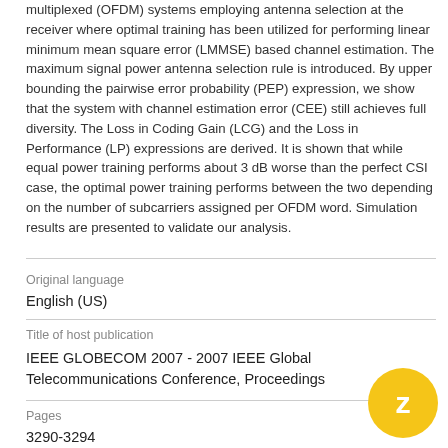multiplexed (OFDM) systems employing antenna selection at the receiver where optimal training has been utilized for performing linear minimum mean square error (LMMSE) based channel estimation. The maximum signal power antenna selection rule is introduced. By upper bounding the pairwise error probability (PEP) expression, we show that the system with channel estimation error (CEE) still achieves full diversity. The Loss in Coding Gain (LCG) and the Loss in Performance (LP) expressions are derived. It is shown that while equal power training performs about 3 dB worse than the perfect CSI case, the optimal power training performs between the two depending on the number of subcarriers assigned per OFDM word. Simulation results are presented to validate our analysis.
| Field | Value |
| --- | --- |
| Original language | English (US) |
| Title of host publication | IEEE GLOBECOM 2007 - 2007 IEEE Global Telecommunications Conference, Proceedings |
| Pages | 3290-3294 |